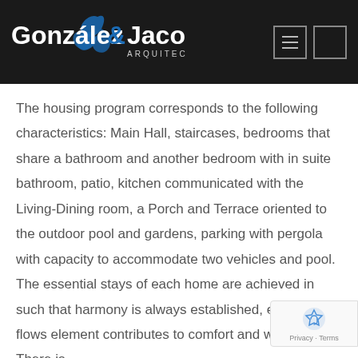[Figure (logo): González & Jacobson Arquitectura logo on dark background with navigation icons]
The housing program corresponds to the following characteristics: Main Hall, staircases, bedrooms that share a bathroom and another bedroom with in suite bathroom, patio, kitchen communicated with the Living-Dining room, a Porch and Terrace oriented to the outdoor pool and gardens, parking with pergola with capacity to accommodate two vehicles and pool. The essential stays of each home are achieved in such that harmony is always established, energy flows element contributes to comfort and warmth. There is